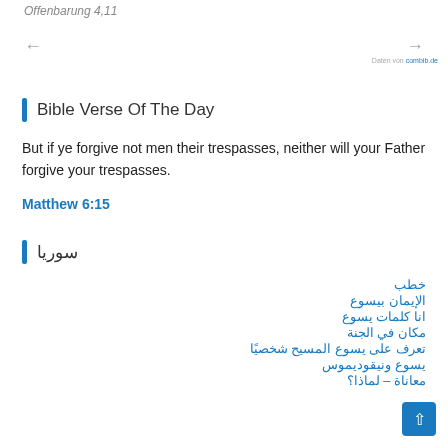Offenbarung 4,11
← →
Daten von combib.de
Bible Verse Of The Day
But if ye forgive not men their trespasses, neither will your Father forgive your trespasses.
Matthew 6:15
سوريا
خطب
الإيمان بيسوع
انا كلمات يسوع
مكان في الجنة
تعرف على يسوع المسيح شخصيًا
يسوع ونيقوديموس
معاناة – لماذا؟